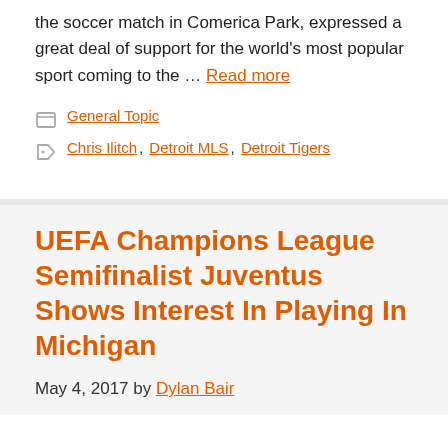the soccer match in Comerica Park, expressed a great deal of support for the world's most popular sport coming to the … Read more
General Topic
Chris Ilitch, Detroit MLS, Detroit Tigers
UEFA Champions League Semifinalist Juventus Shows Interest In Playing In Michigan
May 4, 2017 by Dylan Bair